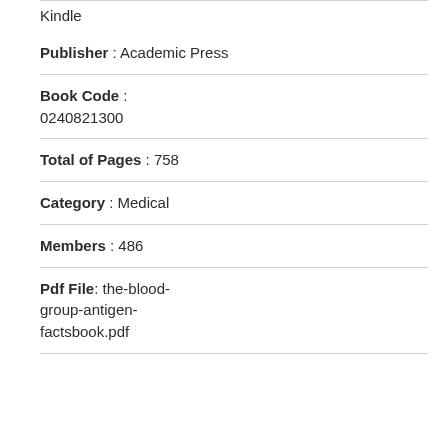Kindle
Publisher : Academic Press
Book Code : 0240821300
Total of Pages : 758
Category : Medical
Members : 486
Pdf File: the-blood-group-antigen-factsbook.pdf